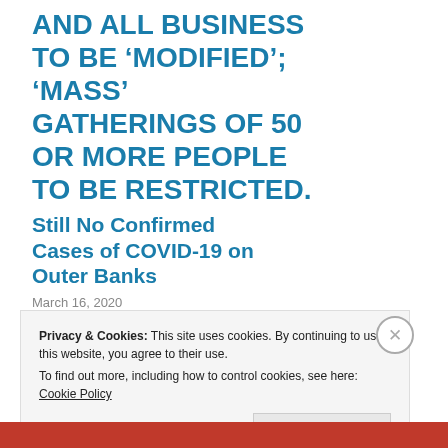AND ALL BUSINESS TO BE 'MODIFIED'; 'MASS' GATHERINGS OF 50 OR MORE PEOPLE TO BE RESTRICTED.
Still No Confirmed Cases of COVID-19 on Outer Banks
March 16, 2020
Privacy & Cookies: This site uses cookies. By continuing to use this website, you agree to their use.
To find out more, including how to control cookies, see here: Cookie Policy
Close and accept